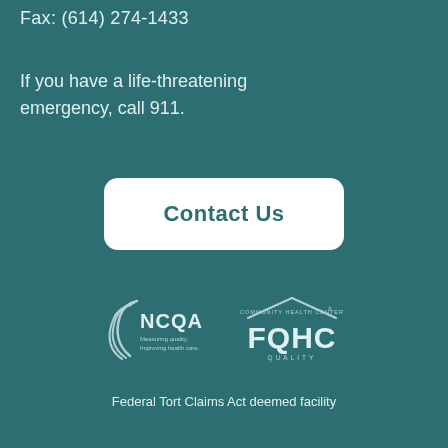Fax: (614) 274-1433
If you have a life-threatening emergency, call 911.
Contact Us
[Figure (logo): NCQA logo - Measuring quality. Improving health care.]
[Figure (logo): FQHC Community Health Center Quality logo]
Federal Tort Claims Act deemed facility